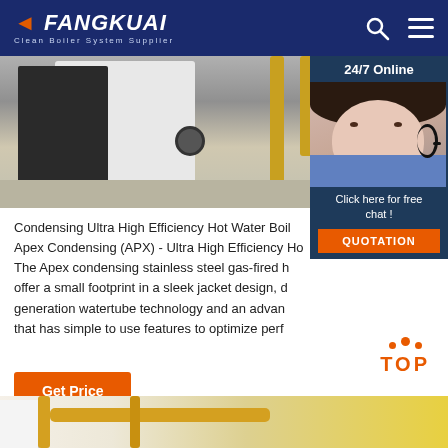FANGKUAI - Clean Boiler System Supplier
[Figure (photo): Photo of condensing boiler equipment installation with dark and white boiler units and yellow pipes]
[Figure (photo): 24/7 Online chat panel with customer service representative wearing headset, Click here for free chat, QUOTATION button]
Condensing Ultra High Efficiency Hot Water Boil Apex Condensing (APX) - Ultra High Efficiency Ho The Apex condensing stainless steel gas-fired h offer a small footprint in a sleek jacket design, d generation watertube technology and an advan that has simple to use features to optimize perf
Get Price
[Figure (other): TOP navigation button with orange dots and orange TOP text]
[Figure (photo): Bottom strip showing industrial piping and equipment]